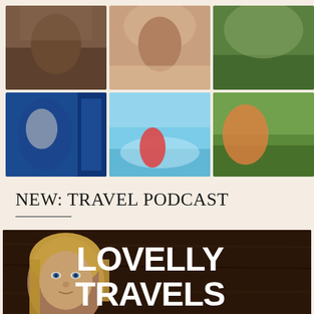[Figure (photo): Photo grid collage: top row shows a close-up photo (brownish tones) and a person outdoors. Bottom row shows a woman with baby in a carrier boarding a blue ITA Airways plane, a pool scene with red flamingo float and mountains, and a woman in pink shirt with child in a green outdoor setting.]
NEW: TRAVEL PODCAST
[Figure (photo): Podcast banner image: dark brown wooden background with a blonde woman with blue eyes on the left side. Bold white text on right reads: LOVELLY TRAVELS PODCAST]